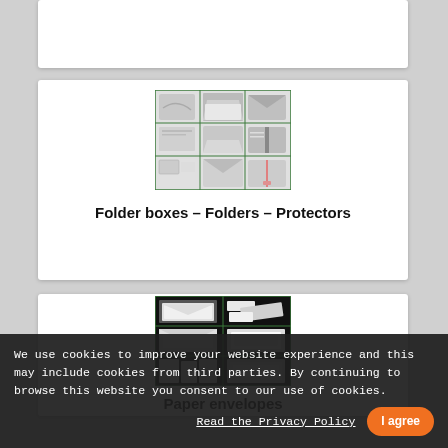[Figure (photo): Partial product card visible at top of page — folder boxes product category image]
[Figure (photo): Grid of folder boxes, folders and protectors products shown in a 3x3 photo grid with green border]
Folder boxes – Folders – Protectors
[Figure (photo): Grid of paper envelopes products shown in a 2x3 photo grid with dark background and green border]
Paper envelopes
We use cookies to improve your website experience and this may include cookies from third parties. By continuing to browse this website you consent to our use of cookies.
Read the Privacy Policy
I agree